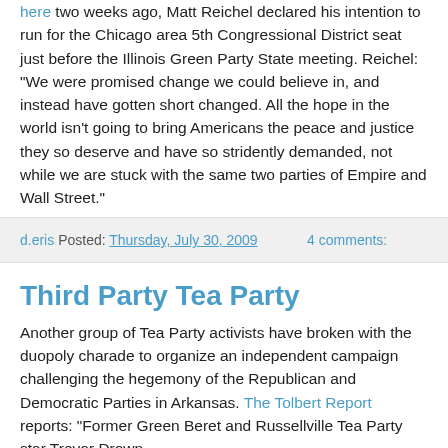here two weeks ago, Matt Reichel declared his intention to run for the Chicago area 5th Congressional District seat just before the Illinois Green Party State meeting. Reichel: "We were promised change we could believe in, and instead have gotten short changed. All the hope in the world isn't going to bring Americans the peace and justice they so deserve and have so stridently demanded, not while we are stuck with the same two parties of Empire and Wall Street."
d.eris Posted: Thursday, July 30, 2009   4 comments:
Third Party Tea Party
Another group of Tea Party activists have broken with the duopoly charade to organize an independent campaign challenging the hegemony of the Republican and Democratic Parties in Arkansas. The Tolbert Report reports: "Former Green Beret and Russellville Tea Party star Trevor Drown